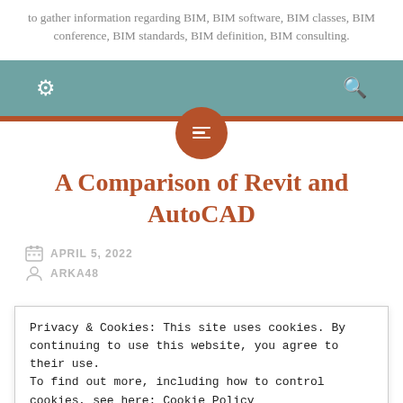to gather information regarding BIM, BIM software, BIM classes, BIM conference, BIM standards, BIM definition, BIM consulting.
[Figure (screenshot): Navigation bar with teal/muted green background, gear icon on left, search icon on right, rust-colored horizontal bar below, and a circular rust-colored menu button centered below the bar.]
A Comparison of Revit and AutoCAD
APRIL 5, 2022
ARKA48
Privacy & Cookies: This site uses cookies. By continuing to use this website, you agree to their use.
To find out more, including how to control cookies, see here: Cookie Policy
Close and accept
AutoCAD, which can even integrate when needed.